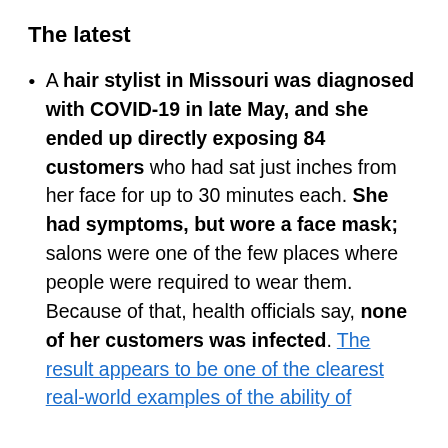The latest
A hair stylist in Missouri was diagnosed with COVID-19 in late May, and she ended up directly exposing 84 customers who had sat just inches from her face for up to 30 minutes each. She had symptoms, but wore a face mask; salons were one of the few places where people were required to wear them. Because of that, health officials say, none of her customers was infected. The result appears to be one of the clearest real-world examples of the ability of